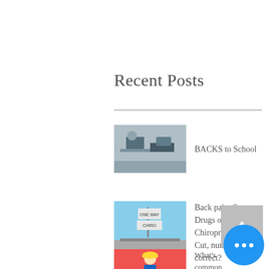Recent Posts
BACKS to School
Back pain: Surgery, Drugs or Chiropractic...To Cut, numb or correct?
What's common between you and & your spine?